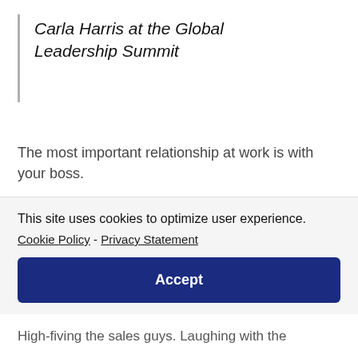Carla Harris at the Global Leadership Summit
The most important relationship at work is with your boss.
Your boss, alone, has the power to grant you a
This site uses cookies to optimize user experience. Cookie Policy - Privacy Statement
Accept
High-fiving the sales guys. Laughing with the